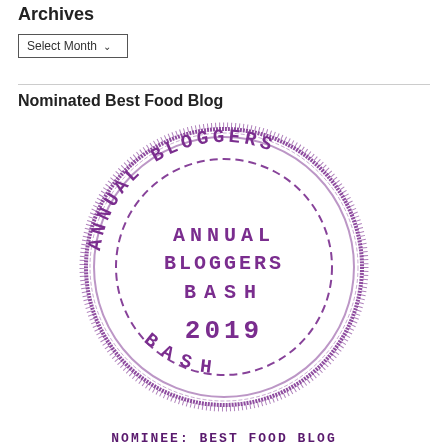Archives
Select Month
Nominated Best Food Blog
[Figure (logo): Annual Bloggers Bash 2019 stamp/seal logo in purple with circular text reading ANNUAL BLOGGERS BASH around the outside and ANNUAL BLOGGERS BASH in the center with 2019 at the bottom]
NOMINEE: BEST FOOD BLOG